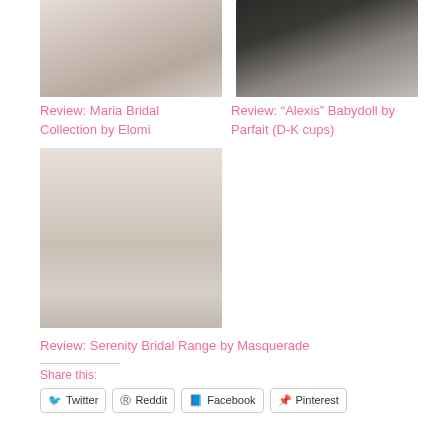[Figure (photo): Woman wearing white/cream bridal lingerie bodysuit holding purple flowers]
Review: Maria Bridal Collection by Elomi
[Figure (photo): Woman with dark hair lying back wearing lingerie, close-up boudoir photo]
Review: “Alexis” Babydoll by Parfait (D-K cups)
[Figure (photo): Woman in champagne/cream bridal negligee gown with hands clasped at waist]
Review: Serenity Bridal Range by Masquerade
Share this:
Twitter
Reddit
Facebook
Pinterest